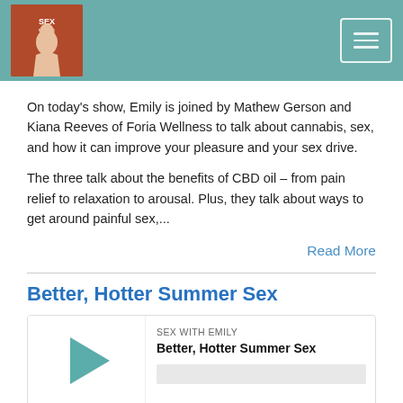Sex With Emily — podcast header with logo and hamburger menu
On today's show, Emily is joined by Mathew Gerson and Kiana Reeves of Foria Wellness to talk about cannabis, sex, and how it can improve your pleasure and your sex drive.
The three talk about the benefits of CBD oil – from pain relief to relaxation to arousal. Plus, they talk about ways to get around painful sex,...
Read More
Better, Hotter Summer Sex
[Figure (other): Audio player widget for podcast episode 'Better, Hotter Summer Sex' by Sex With Emily, showing play button, progress bar, timestamp 00:00:00, and control icons]